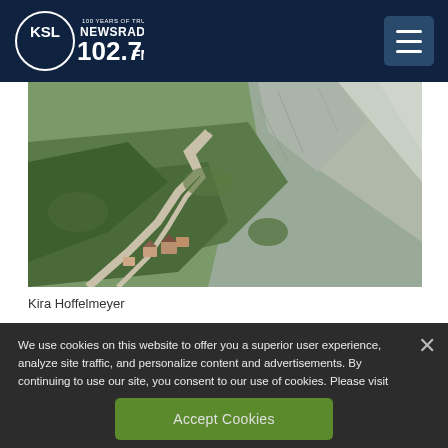KSL NewsRadio 102.7FM — 100 Years of Trust
[Figure (photo): Aerial view of a mountain canyon with winding roads, forested hillsides, and rocky cliff faces. Small buildings and structures visible near the road at the valley floor.]
Kira Hoffelmeyer
We use cookies on this website to offer you a superior user experience, analyze site traffic, and personalize content and advertisements. By continuing to use our site, you consent to our use of cookies. Please visit our Privacy Policy for more information.
Accept Cookies